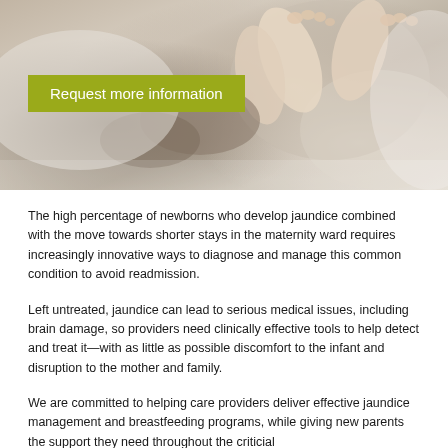[Figure (photo): Close-up photo of a newborn baby's feet and legs being held by an adult, with soft white and beige tones]
Request more information
The high percentage of newborns who develop jaundice combined with the move towards shorter stays in the maternity ward requires increasingly innovative ways to diagnose and manage this common condition to avoid readmission.
Left untreated, jaundice can lead to serious medical issues, including brain damage, so providers need clinically effective tools to help detect and treat it—with as little as possible discomfort to the infant and disruption to the mother and family.
We are committed to helping care providers deliver effective jaundice management and breastfeeding programs, while giving new parents the support they need throughout the critical...